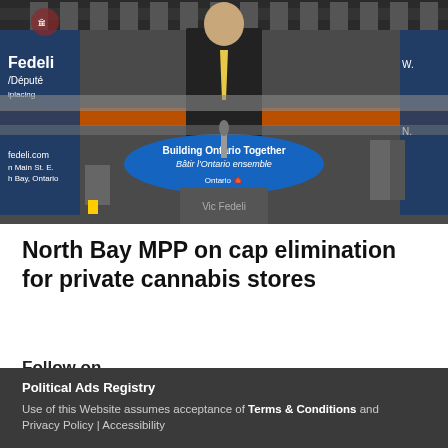[Figure (photo): Man in suit standing at a podium with Ontario government signage reading 'Building Ontario Together / Bâtir l'Ontario ensemble'. Banners on the sides show 'Fedeli / Député' and 'fedeli.com'. Watermark reads 'Vic Fedeli'.]
North Bay MPP on cap elimination for private cannabis stores
Follow on
Political Ads Registry
Use of this Website assumes acceptance of Terms & Conditions and Privacy Policy | Accessibility